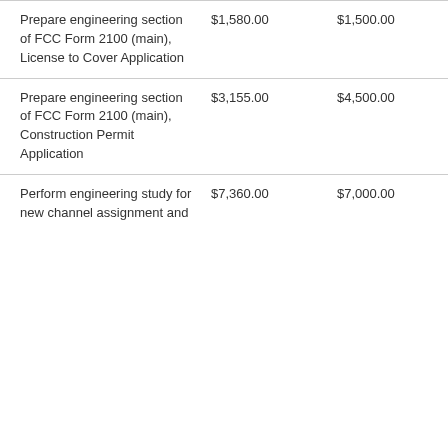| Prepare engineering section of FCC Form 2100 (main), License to Cover Application | $1,580.00 | $1,500.00 | NA |
| Prepare engineering section of FCC Form 2100 (main), Construction Permit Application | $3,155.00 | $4,500.00 | Se attac KC invo 211 and 2 88 |
| Perform engineering study for new channel assignment and | $7,360.00 | $7,000.00 | NA |